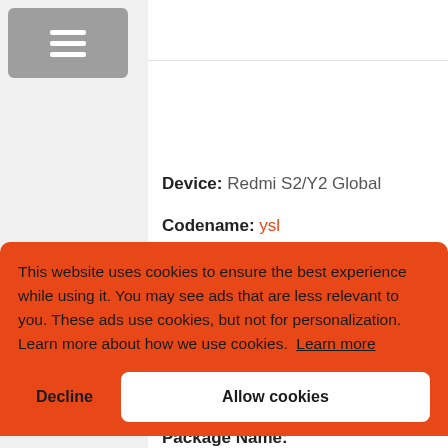[Figure (screenshot): Hamburger menu button icon (three horizontal lines) on gray background]
Device: Redmi S2/Y2 Global
Codename: ysl
This website uses cookies to ensure the best experience while using it. You may see ads that are less relevant to you. These ads use cookies, but not for personalization. Learn more about how we use cookies. Learn more
Decline
Allow cookies
Package Name: